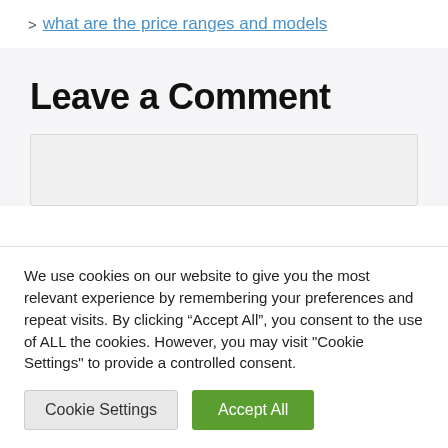> what are the price ranges and models
Leave a Comment
We use cookies on our website to give you the most relevant experience by remembering your preferences and repeat visits. By clicking “Accept All”, you consent to the use of ALL the cookies. However, you may visit "Cookie Settings" to provide a controlled consent.
Cookie Settings | Accept All